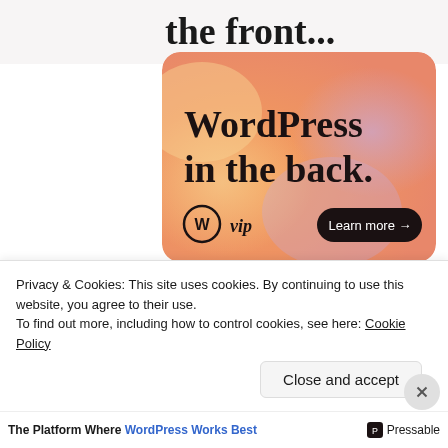the front...
[Figure (illustration): WordPress VIP advertisement banner with orange/peach gradient background with purple accents. Text reads 'WordPress in the back.' with WordPress VIP logo and 'Learn more →' button.]
REPORT THIS AD
Share this:
Twitter   Facebook
Privacy & Cookies: This site uses cookies. By continuing to use this website, you agree to their use.
To find out more, including how to control cookies, see here: Cookie Policy
Close and accept
The Platform Where WordPress Works Best